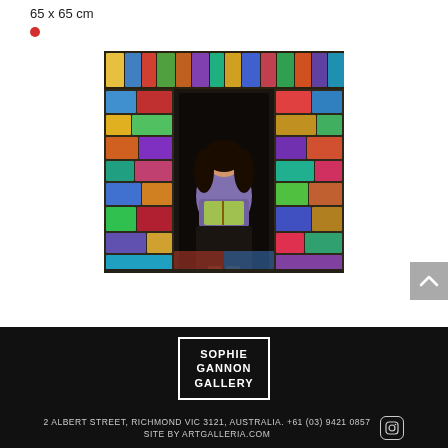65 x 65 cm
● (red dot indicator)
[Figure (photo): Photograph of a woman standing in a newsagent or magazine kiosk surrounded by hundreds of colourful magazines stacked floor to ceiling on shelves on both sides. She is holding an open book/magazine and wearing a purple top.]
[Figure (logo): Sophie Gannon Gallery logo — white text in a white-bordered box on black background. Text reads: SOPHIE GANNON GALLERY]
2 ALBERT STREET, RICHMOND VIC 3121, AUSTRALIA. +61 (03) 9421 0857 SITE BY ARTGALLERIA.COM